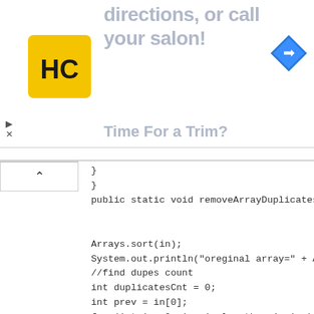[Figure (screenshot): Advertisement banner showing 'directions, or call your salon!' text with HC logo and navigation icon, and 'Time For a Trim?' subtitle]
}
}
public static void removeArrayDuplicates(int[] in) {


Arrays.sort(in);
System.out.println("oreginal array=" + Arrays.toString(in));
//find dupes count
int duplicatesCnt = 0;
int prev = in[0];
for (int i = 0; i < in.length - 1; i++) {
if (prev == in[i + 1]) {
duplicatesCnt++;
}
prev = in[i + 1];
}


//get final array After removing duplicates
int cnt = 0;